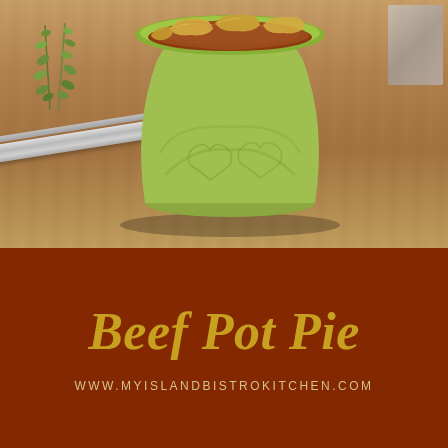[Figure (photo): A green ceramic bowl filled with beef pot pie topped with golden pastry pieces, sitting on a wooden cutting board with fresh thyme sprigs and a silver spatula/tray beside it.]
Beef Pot Pie
WWW.MYISLANDBISTROKITCHEN.COM